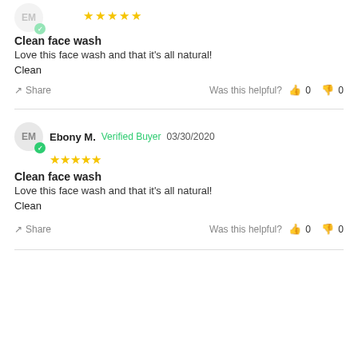EM ★★★★★ (5 stars)
Clean face wash
Love this face wash and that it's all natural!
Clean
Share   Was this helpful? 👍 0 👎 0
Ebony M.  Verified Buyer  03/30/2020  ★★★★★
Clean face wash
Love this face wash and that it's all natural!
Clean
Share   Was this helpful? 👍 0 👎 0